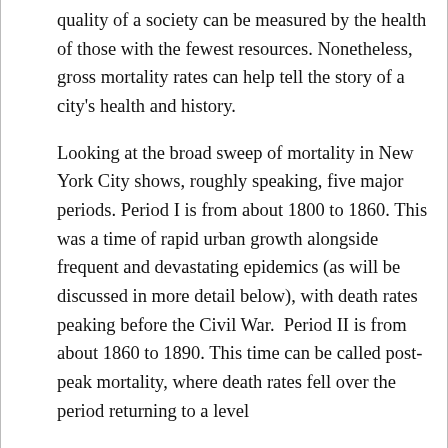quality of a society can be measured by the health of those with the fewest resources. Nonetheless, gross mortality rates can help tell the story of a city's health and history.

Looking at the broad sweep of mortality in New York City shows, roughly speaking, five major periods. Period I is from about 1800 to 1860. This was a time of rapid urban growth alongside frequent and devastating epidemics (as will be discussed in more detail below), with death rates peaking before the Civil War. Period II is from about 1860 to 1890. This time can be called post-peak mortality, where death rates fell over the period returning to a level